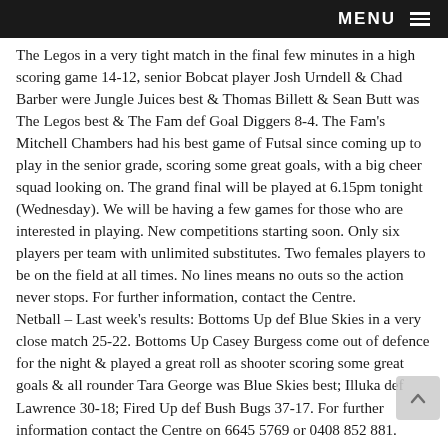MENU
The Legos in a very tight match in the final few minutes in a high scoring game 14-12, senior Bobcat player Josh Urndell & Chad Barber were Jungle Juices best & Thomas Billett & Sean Butt was The Legos best & The Fam def Goal Diggers 8-4. The Fam's Mitchell Chambers had his best game of Futsal since coming up to play in the senior grade, scoring some great goals, with a big cheer squad looking on. The grand final will be played at 6.15pm tonight (Wednesday). We will be having a few games for those who are interested in playing. New competitions starting soon. Only six players per team with unlimited substitutes. Two females players to be on the field at all times. No lines means no outs so the action never stops. For further information, contact the Centre.
Netball – Last week's results: Bottoms Up def Blue Skies in a very close match 25-22. Bottoms Up Casey Burgess come out of defence for the night & played a great roll as shooter scoring some great goals & all rounder Tara George was Blue Skies best; Illuka def Lawrence 30-18; Fired Up def Bush Bugs 37-17. For further information contact the Centre on 6645 5769 or 0408 852 881.